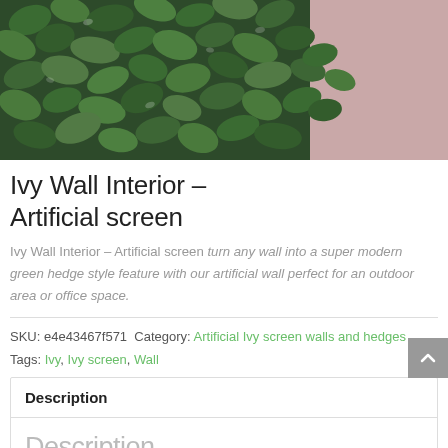[Figure (photo): Photo of artificial ivy wall screen — dense green ivy leaves mounted against a pink/mauve wall background]
Ivy Wall Interior – Artificial screen
Ivy Wall Interior – Artificial screen turn any wall into a super modern green hedge style feature with our artificial wall perfect for an outdoor area or office space.
SKU: e4e43467f571  Category: Artificial Ivy screen walls and hedges  Tags: Ivy, Ivy screen, Wall
Description
Description